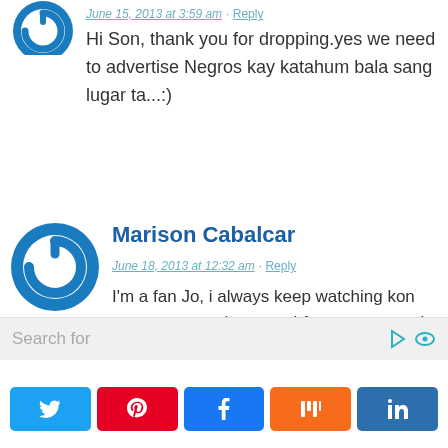[Figure (illustration): Partial blue circular avatar with power icon at the top of the page (cropped)]
June 15, 2013 at 3:59 am · Reply
Hi Son, thank you for dropping.yes we need to advertise Negros kay katahum bala sang lugar ta...:)
[Figure (illustration): Blue circular avatar with white power/on button icon]
Marison Cabalcar
June 18, 2013 at 12:32 am · Reply
I'm a fan Jo, i always keep watching kon ano ang next place nga i-feature mo coz I will visit Bacolod again soon and want a nice place
Search for